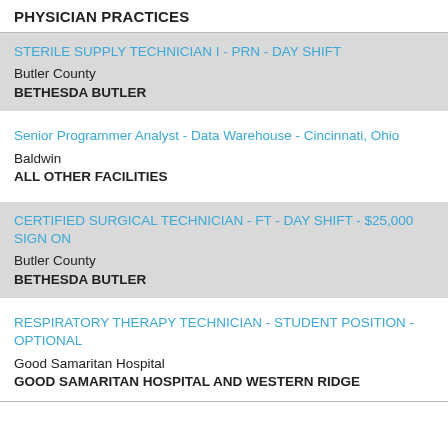PHYSICIAN PRACTICES
STERILE SUPPLY TECHNICIAN I - PRN - DAY SHIFT
Butler County
BETHESDA BUTLER
Senior Programmer Analyst - Data Warehouse - Cincinnati, Ohio
Baldwin
ALL OTHER FACILITIES
CERTIFIED SURGICAL TECHNICIAN - FT - DAY SHIFT - $25,000 SIGN ON
Butler County
BETHESDA BUTLER
RESPIRATORY THERAPY TECHNICIAN - STUDENT POSITION - OPTIONAL
Good Samaritan Hospital
GOOD SAMARITAN HOSPITAL AND WESTERN RIDGE